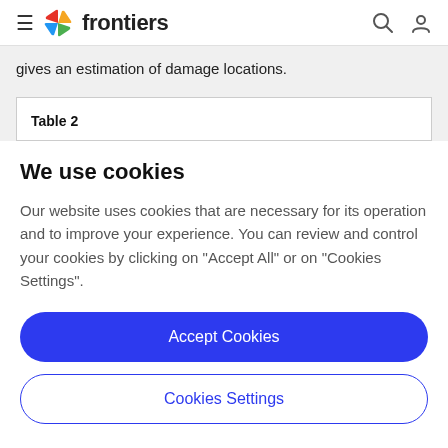frontiers
gives an estimation of damage locations.
| Table 2 |
| --- |
We use cookies
Our website uses cookies that are necessary for its operation and to improve your experience. You can review and control your cookies by clicking on "Accept All" or on "Cookies Settings".
Accept Cookies
Cookies Settings